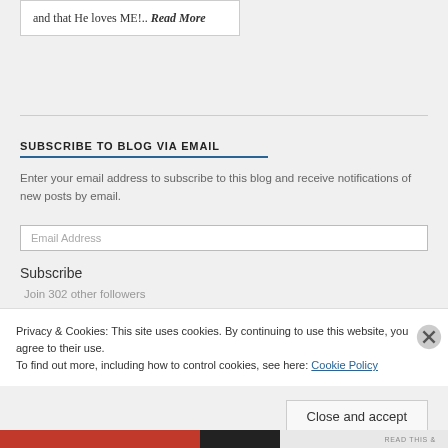and that He loves ME!.. Read More
SUBSCRIBE TO BLOG VIA EMAIL
Enter your email address to subscribe to this blog and receive notifications of new posts by email.
Email Address
Subscribe
Join 302 other followers
Privacy & Cookies: This site uses cookies. By continuing to use this website, you agree to their use.
To find out more, including how to control cookies, see here: Cookie Policy
Close and accept